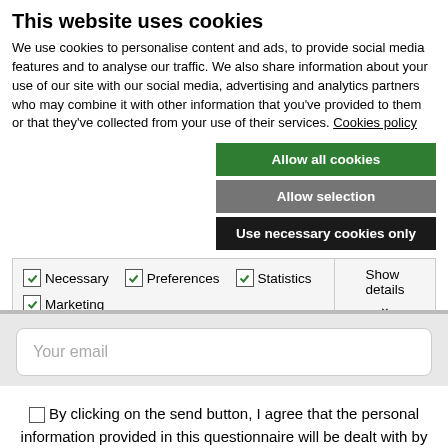This website uses cookies
We use cookies to personalise content and ads, to provide social media features and to analyse our traffic. We also share information about your use of our site with our social media, advertising and analytics partners who may combine it with other information that you've provided to them or that they've collected from your use of their services. Cookies policy
Allow all cookies
Allow selection
Use necessary cookies only
Necessary   Preferences   Statistics   Marketing   Show details
Your email
By clicking on the send button, I agree that the personal information provided in this questionnaire will be dealt with by the company in order to send our business newsletter to the email that has provided us. Also, I declare that I have read the legal